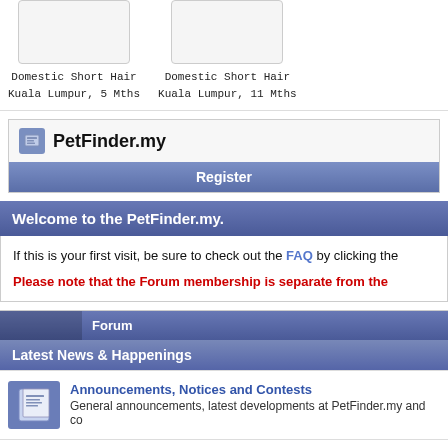[Figure (photo): Pet card: Domestic Short Hair, Kuala Lumpur, 5 Mths - image placeholder]
Domestic Short Hair
Kuala Lumpur, 5 Mths
[Figure (photo): Pet card: Domestic Short Hair, Kuala Lumpur, 11 Mths - image placeholder]
Domestic Short Hair
Kuala Lumpur, 11 Mths
PetFinder.my
Register
Welcome to the PetFinder.my.
If this is your first visit, be sure to check out the FAQ by clicking the
Please note that the Forum membership is separate from the
Forum
Latest News & Happenings
Announcements, Notices and Contests
General announcements, latest developments at PetFinder.my and co
Events
Latest happenings and events pertaining to pets and animal welfare